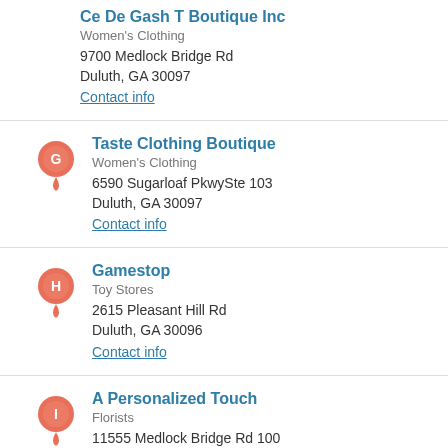Ce De Gash T Boutique Inc
Women's Clothing
9700 Medlock Bridge Rd
Duluth, GA 30097
Contact info
Taste Clothing Boutique
Women's Clothing
6590 Sugarloaf PkwySte 103
Duluth, GA 30097
Contact info
Gamestop
Toy Stores
2615 Pleasant Hill Rd
Duluth, GA 30096
Contact info
A Personalized Touch
Florists
11555 Medlock Bridge Rd 100
Duluth, GA 30097
Contact info